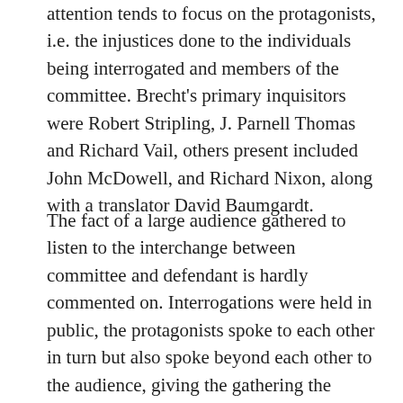attention tends to focus on the protagonists, i.e. the injustices done to the individuals being interrogated and members of the committee. Brecht's primary inquisitors were Robert Stripling, J. Parnell Thomas and Richard Vail, others present included John McDowell, and Richard Nixon, along with a translator David Baumgardt.
The fact of a large audience gathered to listen to the interchange between committee and defendant is hardly commented on. Interrogations were held in public, the protagonists spoke to each other in turn but also spoke beyond each other to the audience, giving the gathering the character of a 'hearing'. It is only through their presence that the HUAC hearings were constituted. The audience is the 'polis' without which the construction of the